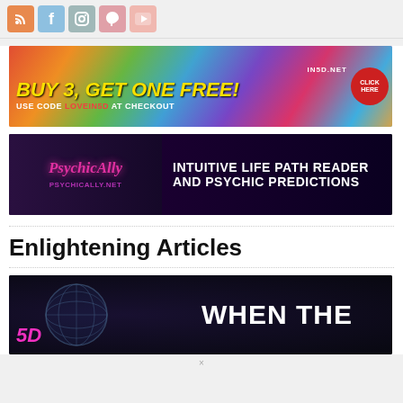Social media icons: RSS, Facebook, Instagram, Pinterest, YouTube
[Figure (infographic): IN5D.NET banner ad: BUY 3, GET ONE FREE! USE CODE LOVEIN5D AT CHECKOUT with colorful tie-dye background and CLICK HERE button]
[Figure (infographic): PsychicAlly banner ad: INTUITIVE LIFE PATH READER AND PSYCHIC PREDICTIONS - PSYCHICALLY.NET]
Enlightening Articles
[Figure (photo): Article thumbnail showing a globe/disco ball with text '5D' in pink and 'WHEN THE' in white on dark background]